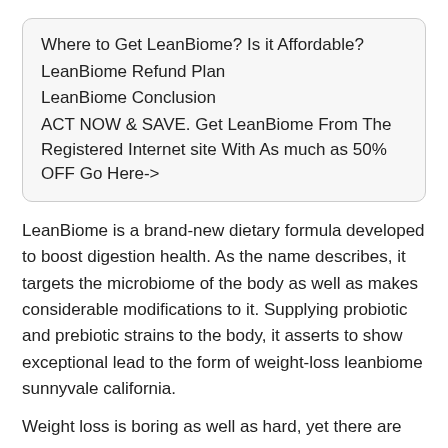Where to Get LeanBiome? Is it Affordable?
LeanBiome Refund Plan
LeanBiome Conclusion
ACT NOW & SAVE. Get LeanBiome From The Registered Internet site With As much as 50% OFF Go Here->
LeanBiome is a brand-new dietary formula developed to boost digestion health. As the name describes, it targets the microbiome of the body as well as makes considerable modifications to it. Supplying probiotic and prebiotic strains to the body, it asserts to show exceptional lead to the form of weight-loss leanbiome sunnyvale california.
Weight loss is boring as well as hard, yet there are